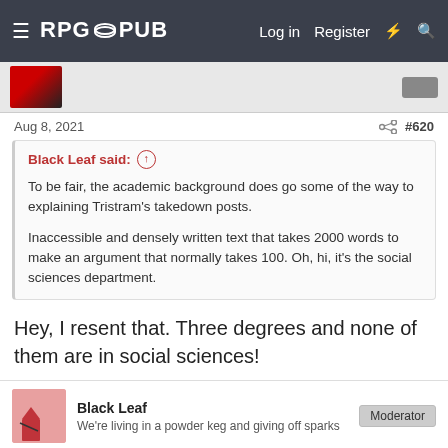RPG PUB   Log in   Register
Aug 8, 2021   #620
Black Leaf said: ↑

To be fair, the academic background does go some of the way to explaining Tristram's takedown posts.

Inaccessible and densely written text that takes 2000 words to make an argument that normally takes 100. Oh, hi, it's the social sciences department.
Hey, I resent that. Three degrees and none of them are in social sciences!
Black Leaf
We're living in a powder keg and giving off sparks   Moderator